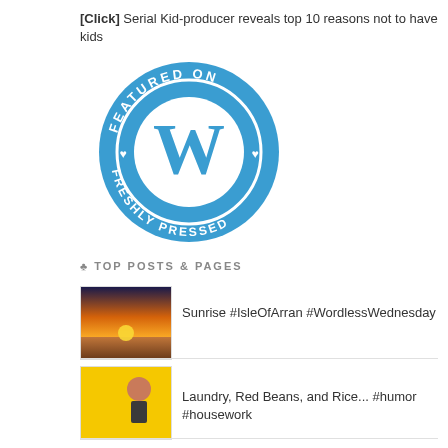[Click] Serial Kid-producer reveals top 10 reasons not to have kids
[Figure (logo): WordPress 'Featured on Freshly Pressed' circular badge in blue with white WordPress W logo in center]
♣ TOP POSTS & PAGES
[Figure (photo): Thumbnail image of a sunrise over water, Isle of Arran]
Sunrise #IsleOfArran #WordlessWednesday
[Figure (photo): Thumbnail of a woman with a yellow background, laundry related]
Laundry, Red Beans, and Rice... #humor #housework
[Figure (photo): Thumbnail of a washing machine or laundry scene with yellow]
It all comes out in the wash.
[Figure (photo): Thumbnail partially visible, British related]
Fifty Shades of Earl Grey #ThrowbackThursday #humor